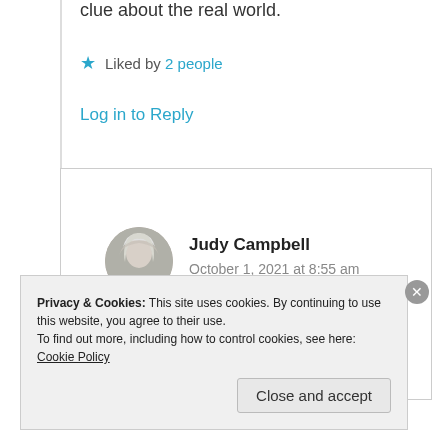clue about the real world.
★ Liked by 2 people
Log in to Reply
Judy Campbell
October 1, 2021 at 8:55 am
Amen.
Privacy & Cookies: This site uses cookies. By continuing to use this website, you agree to their use.
To find out more, including how to control cookies, see here: Cookie Policy
Close and accept